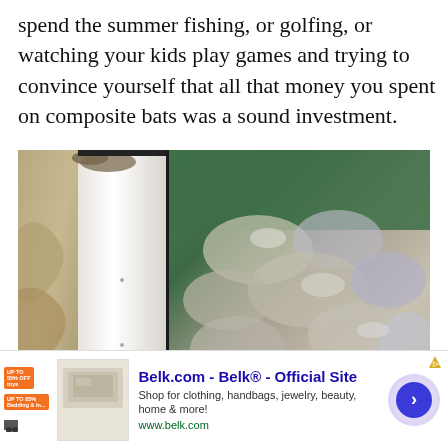spend the summer fishing, or golfing, or watching your kids play games and trying to convince yourself that all that money you spent on composite bats was a sound investment.
[Figure (photo): Two side-by-side photos: left shows a bearded dragon lizard climbing on a white cabinet/dresser, right shows plastic bags containing various items piled on a green surface.]
[Figure (other): Advertisement banner for Belk.com - Belk® Official Site. Shows promotional icons for up to 55% off toys and bedding, a thumbnail of bedding product, ad text 'Shop for clothing, handbags, jewelry, beauty, home & more!' with URL www.belk.com and a blue circular arrow button.]